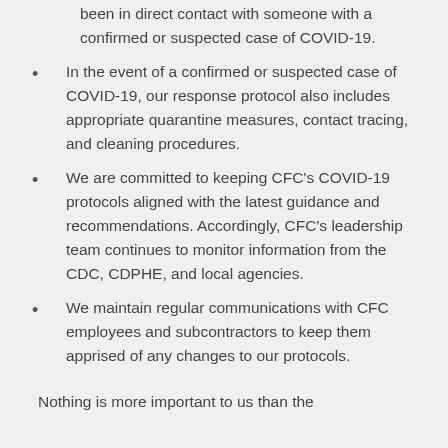been in direct contact with someone with a confirmed or suspected case of COVID-19.
In the event of a confirmed or suspected case of COVID-19, our response protocol also includes appropriate quarantine measures, contact tracing, and cleaning procedures.
We are committed to keeping CFC's COVID-19 protocols aligned with the latest guidance and recommendations. Accordingly, CFC's leadership team continues to monitor information from the CDC, CDPHE, and local agencies.
We maintain regular communications with CFC employees and subcontractors to keep them apprised of any changes to our protocols.
Nothing is more important to us than the